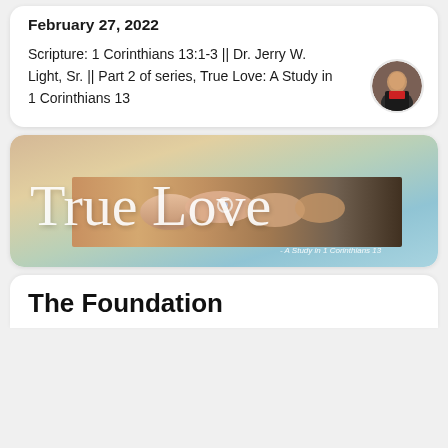February 27, 2022
Scripture: 1 Corinthians 13:1-3 || Dr. Jerry W. Light, Sr. || Part 2 of series, True Love: A Study in 1 Corinthians 13
[Figure (photo): Banner image for True Love: A Study in 1 Corinthians 13 series, showing clasped hands with a diamond ring over a pastel gradient background, with cursive script reading 'True Love' and subtitle 'A Study in 1 Corinthians 13']
The Foundation